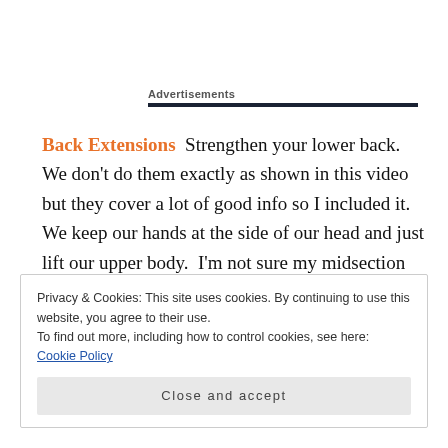Advertisements
Back Extensions  Strengthen your lower back.  We don't do them exactly as shown in this video but they cover a lot of good info so I included it.  We keep our hands at the side of our head and just lift our upper body.  I'm not sure my midsection could take lifting my legs and my back at the same time. 😐
Privacy & Cookies: This site uses cookies. By continuing to use this website, you agree to their use.
To find out more, including how to control cookies, see here: Cookie Policy
Close and accept